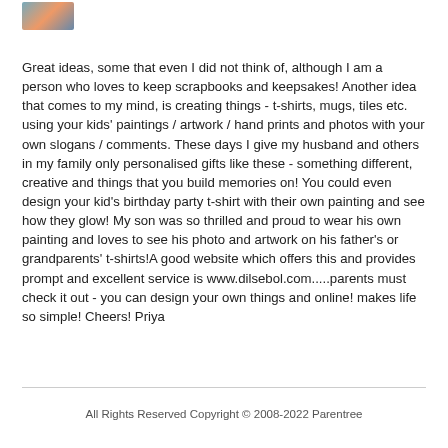[Figure (photo): Small avatar/profile photo thumbnail in the top left corner]
Great ideas, some that even I did not think of, although I am a person who loves to keep scrapbooks and keepsakes! Another idea that comes to my mind, is creating things - t-shirts, mugs, tiles etc. using your kids' paintings / artwork / hand prints and photos with your own slogans / comments. These days I give my husband and others in my family only personalised gifts like these - something different, creative and things that you build memories on! You could even design your kid's birthday party t-shirt with their own painting and see how they glow! My son was so thrilled and proud to wear his own painting and loves to see his photo and artwork on his father's or grandparents' t-shirts!A good website which offers this and provides prompt and excellent service is www.dilsebol.com.....parents must check it out - you can design your own things and online! makes life so simple! Cheers! Priya
All Rights Reserved Copyright © 2008-2022 Parentree